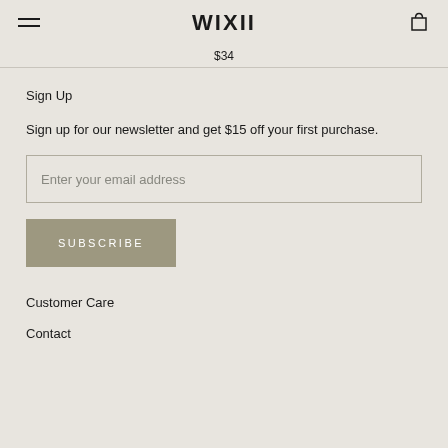WIXII — navigation header with hamburger menu and cart icon
$34
Sign Up
Sign up for our newsletter and get $15 off your first purchase.
Enter your email address
SUBSCRIBE
Customer Care
Contact